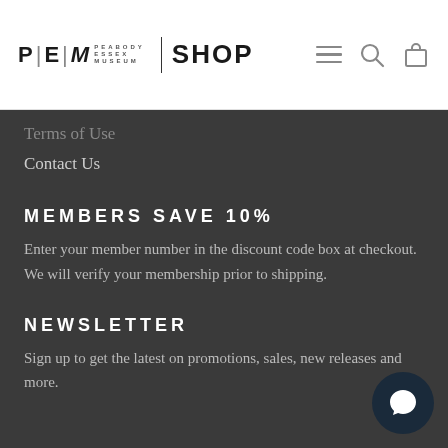PEM Peabody Essex Museum | SHOP
Terms of Use
Contact Us
MEMBERS SAVE 10%
Enter your member number in the discount code box at checkout. We will verify your membership prior to shipping.
NEWSLETTER
Sign up to get the latest on promotions, sales, new releases and more.